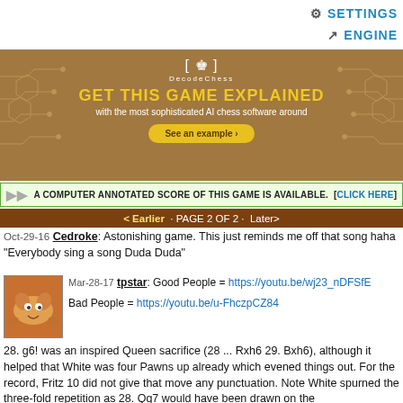⚙ SETTINGS
↗ ENGINE
[Figure (illustration): DecodeChess advertisement banner with brown/tan background, circuit board pattern, crown logo, text: GET THIS GAME EXPLAINED with the most sophisticated AI chess software around, with See an example button]
A COMPUTER ANNOTATED SCORE OF THIS GAME IS AVAILABLE. [CLICK HERE]
< Earlier · PAGE 2 OF 2 · Later>
Oct-29-16 Cedroke: Astonishing game. This just reminds me off that song haha "Everybody sing a song Duda Duda"
Mar-28-17 tpstar: Good People = https://youtu.be/wj23_nDFSfE
Bad People = https://youtu.be/u-FhczpCZ84
28. g6! was an inspired Queen sacrifice (28 ... Rxh6 29. Bxh6), although it helped that White was four Pawns up already which evened things out. For the record, Fritz 10 did not give that move any punctuation. Note White spurned the three-fold repetition as 28. Qg7 would have been drawn on the